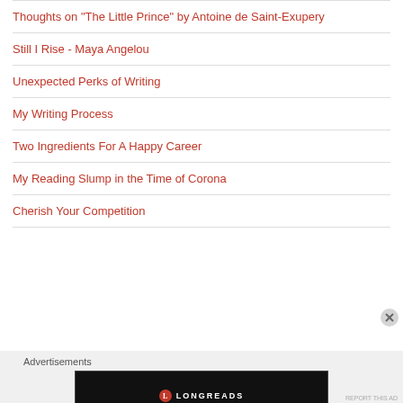Thoughts on "The Little Prince" by Antoine de Saint-Exupery
Still I Rise - Maya Angelou
Unexpected Perks of Writing
My Writing Process
Two Ingredients For A Happy Career
My Reading Slump in the Time of Corona
Cherish Your Competition
Advertisements
[Figure (screenshot): Longreads advertisement banner with logo and tagline 'Read anything great lately?']